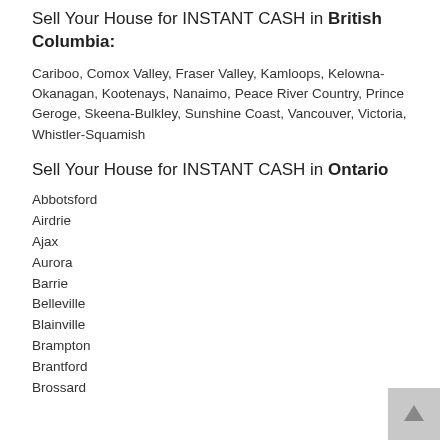Sell Your House for INSTANT CASH in British Columbia:
Cariboo, Comox Valley, Fraser Valley, Kamloops, Kelowna-Okanagan, Kootenays, Nanaimo, Peace River Country, Prince Geroge, Skeena-Bulkley, Sunshine Coast, Vancouver, Victoria, Whistler-Squamish
Sell Your House for INSTANT CASH in Ontario
Abbotsford
Airdrie
Ajax
Aurora
Barrie
Belleville
Blainville
Brampton
Brantford
Brossard